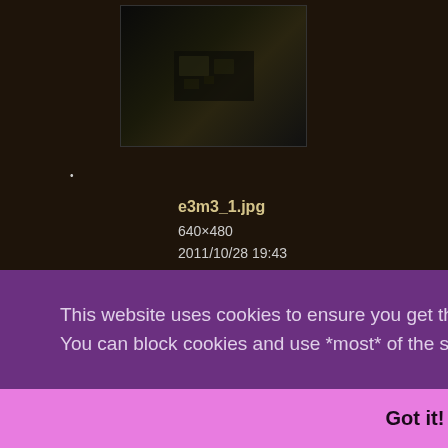[Figure (screenshot): Dark thumbnail image of a game screenshot (e3m3_1.jpg)]
e3m3_1.jpg
640×480
2011/10/28 19:43
13.5 KB
[Figure (screenshot): Dark game screenshot thumbnail showing reddish scene]
This website uses cookies to ensure you get the best experience on our website. You can block cookies and use *most* of the site just fine. TODOpolicy
Got it!